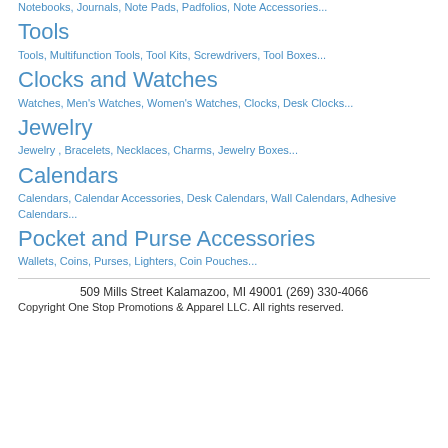Notebooks, Journals, Note Pads, Padfolios, Note Accessories...
Tools
Tools, Multifunction Tools, Tool Kits, Screwdrivers, Tool Boxes...
Clocks and Watches
Watches, Men's Watches, Women's Watches, Clocks, Desk Clocks...
Jewelry
Jewelry , Bracelets, Necklaces, Charms, Jewelry Boxes...
Calendars
Calendars, Calendar Accessories, Desk Calendars, Wall Calendars, Adhesive Calendars...
Pocket and Purse Accessories
Wallets, Coins, Purses, Lighters, Coin Pouches...
509 Mills Street Kalamazoo, MI 49001 (269) 330-4066
Copyright One Stop Promotions & Apparel LLC. All rights reserved.